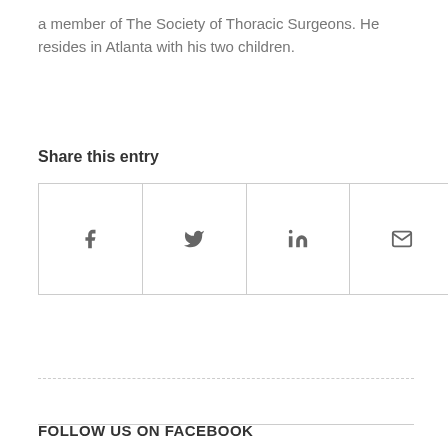a member of The Society of Thoracic Surgeons. He resides in Atlanta with his two children.
Share this entry
[Figure (other): Social sharing buttons grid with icons for Facebook, Twitter, LinkedIn, and Email]
FOLLOW US ON FACEBOOK